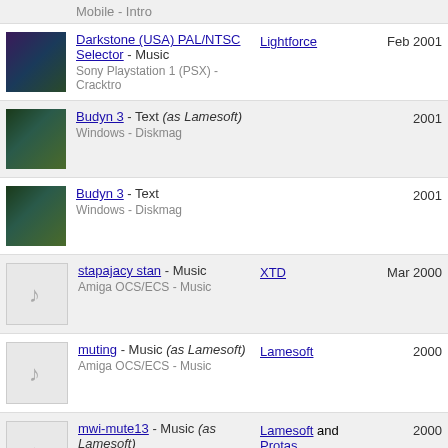Mobile - Intro
Darkstone (USA) PAL/NTSC Selector - Music
Sony Playstation 1 (PSX) - Cracktro
Lightforce | Feb 2001
Budyn 3 - Text (as Lamesoft)
Windows - Diskmag
2001
Budyn 3 - Text
Windows - Diskmag
2001
stapajacy stan - Music
Amiga OCS/ECS - Music
XTD | Mar 2000
muting - Music (as Lamesoft)
Amiga OCS/ECS - Music
Lamesoft | 2000
mwi-mute13 - Music (as Lamesoft)
Amiga OCS/ECS - Music
Lamesoft and Protas | 2000
Beret 4 - Text
Amiga AGA - Diskmag
Beret Squad | Nov 1999
## ascend ## - Music
XTD | Nov 1999